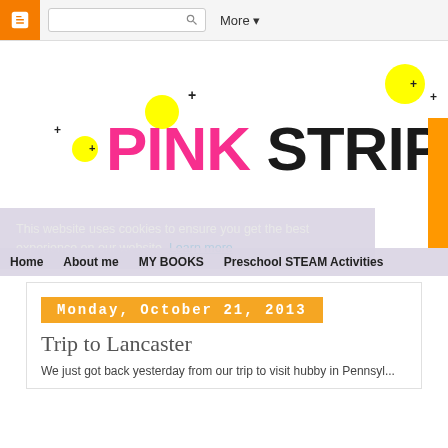Blogger toolbar with search and More button
[Figure (illustration): Pink Stripey Socks blog banner with 'PINK STRIPEY' text in pink and black with yellow decorative dots and plus signs]
This website uses cookies to ensure you get the best experience on our website. Learn more
Home  About me  MY BOOKS  Preschool STEAM Activities
Monday, October 21, 2013
Trip to Lancaster
We just got back yesterday from our trip to visit hubby in Pennsyl...